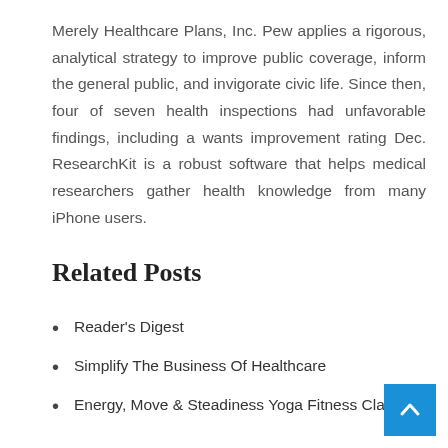Merely Healthcare Plans, Inc. Pew applies a rigorous, analytical strategy to improve public coverage, inform the general public, and invigorate civic life. Since then, four of seven health inspections had unfavorable findings, including a wants improvement rating Dec. ResearchKit is a robust software that helps medical researchers gather health knowledge from many iPhone users.
Related Posts
Reader's Digest
Simplify The Business Of Healthcare
Energy, Move & Steadiness Yoga Fitness Classes